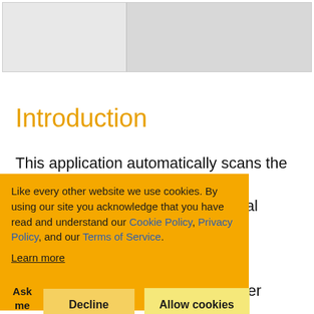[Figure (screenshot): Top portion of a document page showing a two-panel image area with light gray background panels separated by a border]
Introduction
This application automatically scans the document or ... ular interval ... quickly scan ... pages) with
[Figure (screenshot): Cookie consent overlay with orange background. Text: 'Like every other website we use cookies. By using our site you acknowledge that you have read and understand our Cookie Policy, Privacy Policy, and our Terms of Service. Learn more'. Buttons: 'Ask me later', 'Decline', 'Allow cookies']
...using scanner applications WIA/Windows Acquisition)